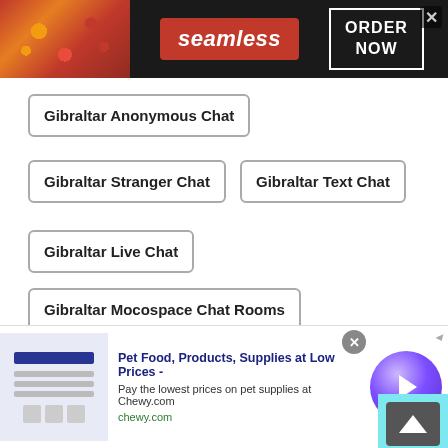[Figure (screenshot): Seamless food delivery banner ad with pizza image on left, Seamless logo in red, and ORDER NOW box on right with close button]
Gibraltar Anonymous Chat
Gibraltar Stranger Chat
Gibraltar Text Chat
Gibraltar Live Chat
Gibraltar Mocospace Chat Rooms
Gibraltar Omegle Random Chat
Gibraltar Chat Online
Gibraltar Find Friends
Gibraltar Free Online Therapy Chatroom
[Figure (screenshot): Chewy.com advertisement: Pet Food, Products, Supplies at Low Prices - with circular purple arrow button and close button]